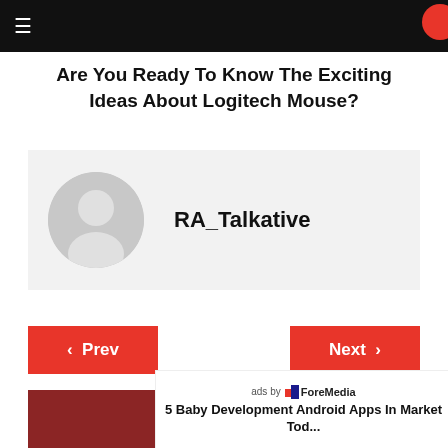≡
Are You Ready To Know The Exciting Ideas About Logitech Mouse?
[Figure (illustration): Author profile card with a circular grey avatar placeholder icon and bold username RA_Talkative on a light grey background]
RA_Talkative
< Prev
Next >
ads by ForeMedia
5 Baby Development Android Apps In Market Tod...